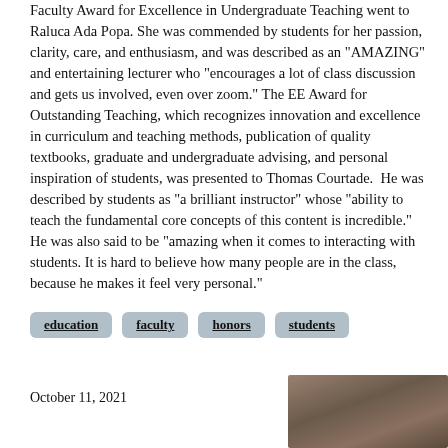Faculty Award for Excellence in Undergraduate Teaching went to Raluca Ada Popa. She was commended by students for her passion, clarity, care, and enthusiasm, and was described as an "AMAZING" and entertaining lecturer who "encourages a lot of class discussion and gets us involved, even over zoom." The EE Award for Outstanding Teaching, which recognizes innovation and excellence in curriculum and teaching methods, publication of quality textbooks, graduate and undergraduate advising, and personal inspiration of students, was presented to Thomas Courtade. He was described by students as "a brilliant instructor" whose "ability to teach the fundamental core concepts of this content is incredible." He was also said to be "amazing when it comes to interacting with students. It is hard to believe how many people are in the class, because he makes it feel very personal."
education
faculty
honors
students
October 11, 2021
[Figure (photo): Partial photo of a person, cropped at bottom of page]